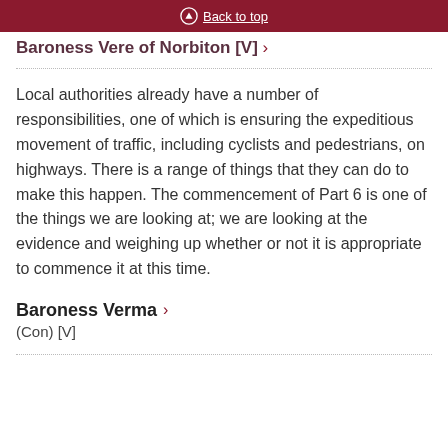Back to top
Baroness Vere of Norbiton [V] ›
Local authorities already have a number of responsibilities, one of which is ensuring the expeditious movement of traffic, including cyclists and pedestrians, on highways. There is a range of things that they can do to make this happen. The commencement of Part 6 is one of the things we are looking at; we are looking at the evidence and weighing up whether or not it is appropriate to commence it at this time.
Baroness Verma › (Con) [V]